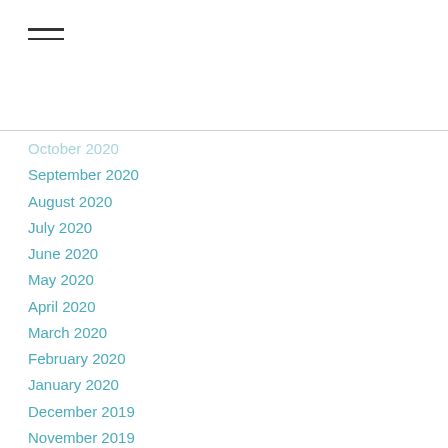[Figure (other): Hamburger menu icon — three horizontal lines]
October 2020
September 2020
August 2020
July 2020
June 2020
May 2020
April 2020
March 2020
February 2020
January 2020
December 2019
November 2019
October 2019
September 2019
August 2019
July 2019
June 2019
May 2019